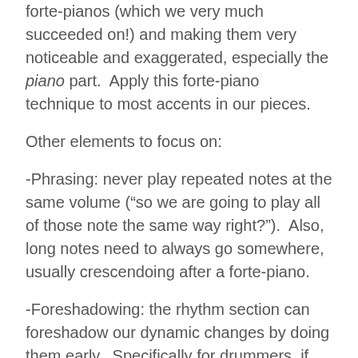forte-pianos (which we very much succeeded on!) and making them very noticeable and exaggerated, especially the piano part.  Apply this forte-piano technique to most accents in our pieces.
Other elements to focus on:
-Phrasing: never play repeated notes at the same volume (“so we are going to play all of those note the same way right?”).  Also, long notes need to always go somewhere, usually crescendoing after a forte-piano.
-Foreshadowing: the rhythm section can foreshadow our dynamic changes by doing them early.  Specifically for drummers, if you see a dynamic change approaching, emulate that change with a fill 1 or 2 bars before the